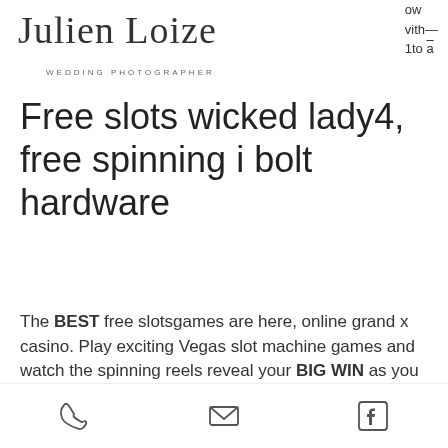Julien Loize
WEDDING PHOTOGRAPHER
ow with_ 1to a
Free slots wicked lady4, free spinning i bolt hardware
The BEST free slotsgames are here, online grand x casino. Play exciting Vegas slot machine games and watch the spinning reels reveal your BIG WIN as you hit the 777 casino JACKPOT! Slots Fun brings you the same Las Vegas freeslots to your phone, in a free to play game get that same JACKPOT feeling with our free slotmachines! FREE casino slot games from the Bally slot machines you love to play, so don't miss our Las Vegas style free casino games. If you
phone | email | facebook